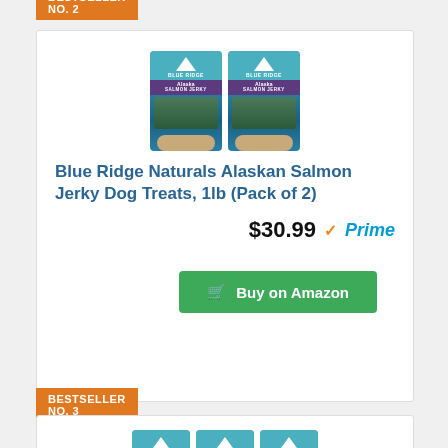BESTSELLER NO. 2
[Figure (photo): Two packages of Blue Ridge Naturals Alaskan Salmon Jerky dog treats]
Blue Ridge Naturals Alaskan Salmon Jerky Dog Treats, 1lb (Pack of 2)
$30.99 Prime
Buy on Amazon
BESTSELLER NO. 3
[Figure (photo): Three packages of Blue Ridge Naturals Alaskan Salmon Jerky dog treats]